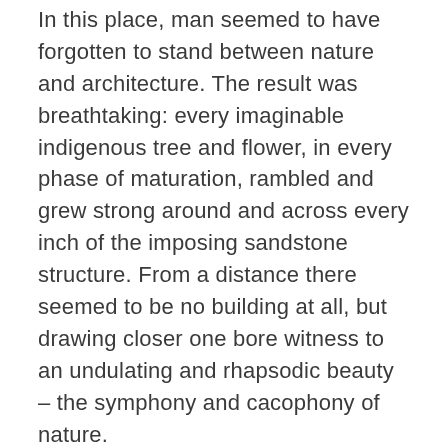In this place, man seemed to have forgotten to stand between nature and architecture. The result was breathtaking: every imaginable indigenous tree and flower, in every phase of maturation, rambled and grew strong around and across every inch of the imposing sandstone structure. From a distance there seemed to be no building at all, but drawing closer one bore witness to an undulating and rhapsodic beauty – the symphony and cacophony of nature.
Mahony's mesmerising renderings often place buildings within verdant landscapes. In her illustrations – and in her environmentalism and utopianism – lies a reverence for the landscape. Architectural information is sometimes compromised to monumentalise: the natural environment dominates.